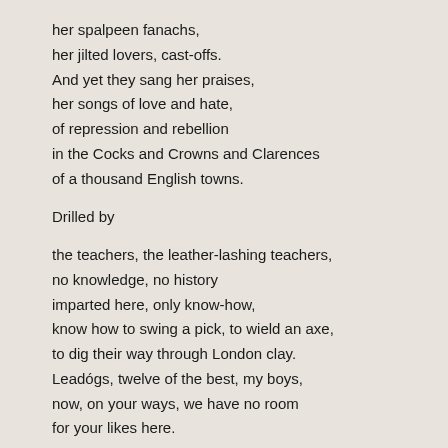her spalpeen fanachs,
her jilted lovers, cast-offs.
And yet they sang her praises,
her songs of love and hate,
of repression and rebellion
in the Cocks and Crowns and Clarences
of a thousand English towns.

Drilled by

the teachers, the leather-lashing teachers,
no knowledge, no history
imparted here, only know-how,
know how to swing a pick, to wield an axe,
to dig their way through London clay.
Leadógs, twelve of the best, my boys,
now, on your ways, we have no room
for your likes here.